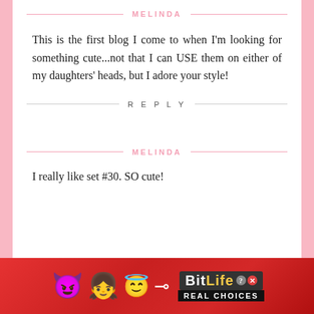MELINDA
This is the first blog I come to when I'm looking for something cute...not that I can USE them on either of my daughters' heads, but I adore your style!
REPLY
MELINDA
I really like set #30. SO cute!
[Figure (illustration): BitLife advertisement banner with emojis (devil, girl, angel, sperm) and BitLife logo with 'REAL CHOICES' text on red background]